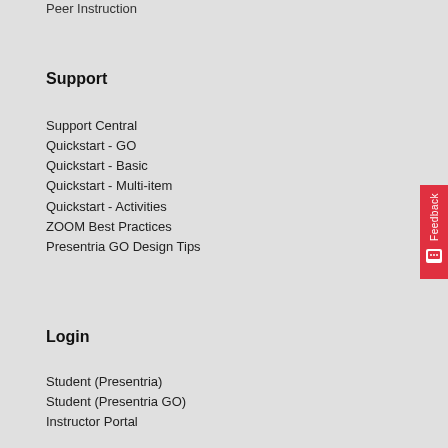Peer Instruction
Support
Support Central
Quickstart - GO
Quickstart - Basic
Quickstart - Multi-item
Quickstart - Activities
ZOOM Best Practices
Presentria GO Design Tips
Login
Student (Presentria)
Student (Presentria GO)
Instructor Portal